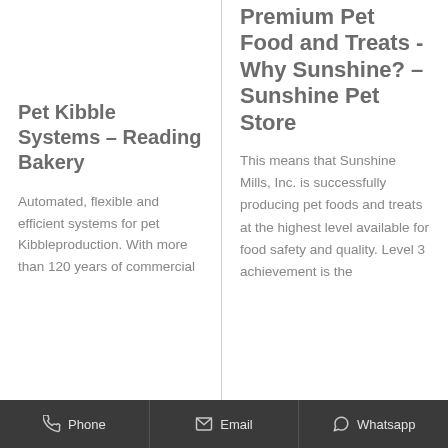Pet Kibble Systems – Reading Bakery
Automated, flexible and efficient systems for pet Kibbleproduction. With more than 120 years of commercial
Premium Pet Food and Treats - Why Sunshine? – Sunshine Pet Store
This means that Sunshine Mills, Inc. is successfully producing pet foods and treats at the highest level available for food safety and quality. Level 3 achievement is the
Phone   Email   Whatsapp